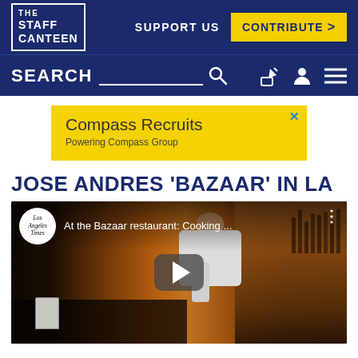THE STAFF CANTEEN | SUPPORT US | CONTRIBUTE >
SEARCH
[Figure (screenshot): Yellow advertisement banner for Compass Recruits - Powering Compass Group]
JOSE ANDRES 'BAZAAR' IN LA
[Figure (screenshot): YouTube video thumbnail showing Los Angeles Times logo and text 'At the Bazaar restaurant: Cooking ...' with a chef cooking at a bar with bottle shelf in background, play button overlay visible]